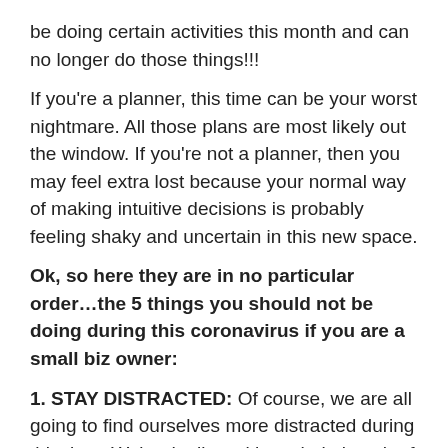be doing certain activities this month and can no longer do those things!!!
If you’re a planner, this time can be your worst nightmare. All those plans are most likely out the window. If you’re not a planner, then you may feel extra lost because your normal way of making intuitive decisions is probably feeling shaky and uncertain in this new space.
Ok, so here they are in no particular order…the 5 things you should not be doing during this coronavirus if you are a small biz owner:
1. STAY DISTRACTED: Of course, we are all going to find ourselves more distracted during this time. We’re dealing with a whole bunch of new...and we have to make a ton of decisions.